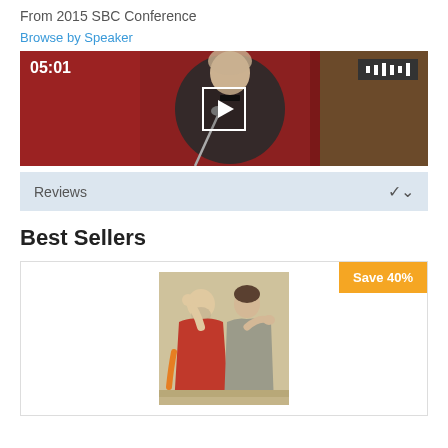From 2015 SBC Conference
Browse by Speaker
[Figure (screenshot): Video thumbnail showing a speaker at a podium with a red curtain background, displaying timestamp 05:01 and a play button, with a volume/bars icon in the top right]
Reviews
Best Sellers
[Figure (photo): Classical painting showing two robed figures, likely Plato and Aristotle from Raphael's School of Athens, with a Save 40% badge in the corner]